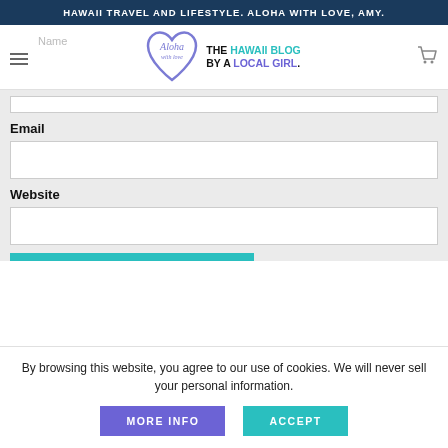HAWAII TRAVEL AND LIFESTYLE. ALOHA WITH LOVE, AMY.
[Figure (logo): Aloha With Love logo - heart outline with cursive 'Aloha with Love' text, alongside 'THE HAWAII BLOG BY A LOCAL GIRL.' text]
Email
Website
By browsing this website, you agree to our use of cookies. We will never sell your personal information.